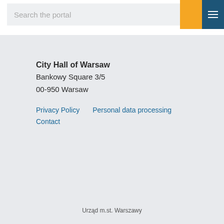Search the portal
City Hall of Warsaw
Bankowy Square 3/5
00-950 Warsaw
Privacy Policy   Personal data processing
Contact
Urząd m.st. Warszawy